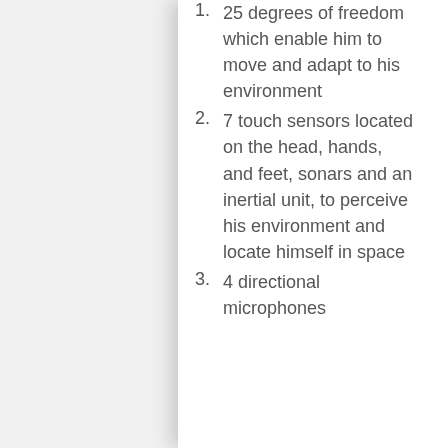1. 25 degrees of freedom which enable him to move and adapt to his environment
2. 7 touch sensors located on the head, hands, and feet, sonars and an inertial unit, to perceive his environment and locate himself in space
3. 4 directional microphones